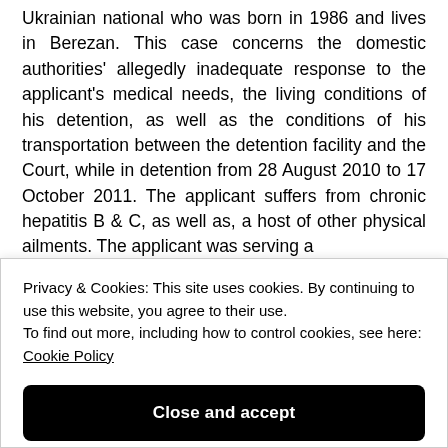Ukrainian national who was born in 1986 and lives in Berezan. This case concerns the domestic authorities' allegedly inadequate response to the applicant's medical needs, the living conditions of his detention, as well as the conditions of his transportation between the detention facility and the Court, while in detention from 28 August 2010 to 17 October 2011. The applicant suffers from chronic hepatitis B & C, as well as, a host of other physical ailments. The applicant was serving a
Privacy & Cookies: This site uses cookies. By continuing to use this website, you agree to their use.
To find out more, including how to control cookies, see here: Cookie Policy
Close and accept